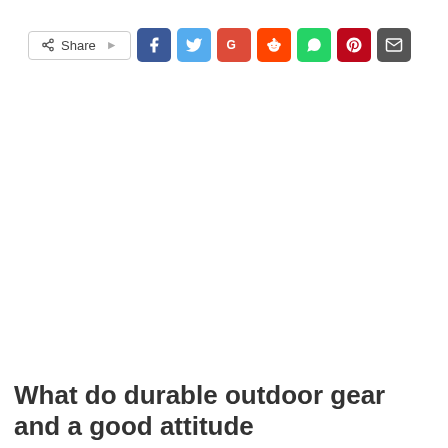[Figure (screenshot): Social share bar with Share button and icons for Facebook, Twitter, Google+, Reddit, WhatsApp, Pinterest, and Email]
What do durable outdoor gear and a good attitude